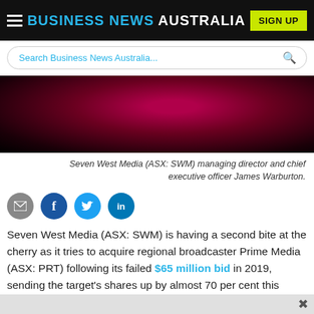BUSINESS NEWS AUSTRALIA
[Figure (screenshot): Search bar for Business News Australia website with placeholder text 'Search Business News Australia...' and a cyan search icon on the right]
[Figure (photo): Dark crimson/maroon blurred background image - appears to be a partial photo of a person against a dark red background]
Seven West Media (ASX: SWM) managing director and chief executive officer James Warburton.
[Figure (infographic): Social sharing icons: email (grey), Facebook (dark blue), Twitter (light blue), LinkedIn (dark blue)]
Seven West Media (ASX: SWM) is having a second bite at the cherry as it tries to acquire regional broadcaster Prime Media (ASX: PRT) following its failed $65 million bid in 2019, sending the target's shares up by almost 70 per cent this morning to hit four-year highs.